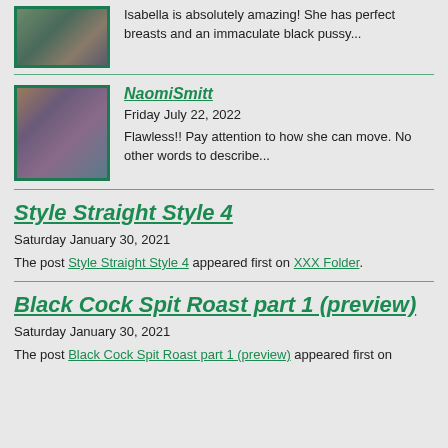[Figure (photo): Thumbnail image of a person, cropped at top of page]
Isabella is absolutely amazing! She has perfect breasts and an immaculate black pussy...
[Figure (photo): Thumbnail image of NaomiSmitt, person posing]
NaomiSmitt
Friday July 22, 2022
Flawless!! Pay attention to how she can move. No other words to describe...
Style Straight Style 4
Saturday January 30, 2021
The post Style Straight Style 4 appeared first on XXX Folder.
Black Cock Spit Roast part 1 (preview)
Saturday January 30, 2021
The post Black Cock Spit Roast part 1 (preview) appeared first on